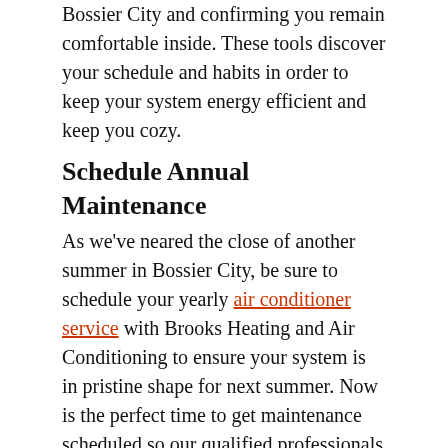Bossier City and confirming you remain comfortable inside. These tools discover your schedule and habits in order to keep your system energy efficient and keep you cozy.
Schedule Annual Maintenance
As we've neared the close of another summer in Bossier City, be sure to schedule your yearly air conditioner service with Brooks Heating and Air Conditioning to ensure your system is in pristine shape for next summer. Now is the perfect time to get maintenance scheduled so our qualified professionals are able to address any problems before we reach more unforgiving temperatures.
The pros at Brooks Heating and Air Conditioning in Bossier City will ensure you're comfortable in your home every season. While you are worrying about keeping comfortable outside, we'll ensure you stay